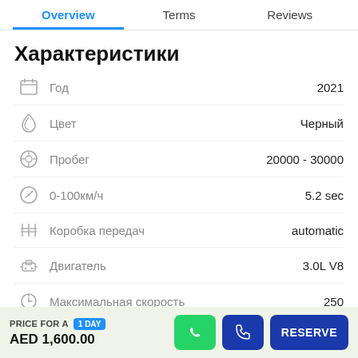Overview | Terms | Reviews
Характеристики
Год — 2021
Цвет — Черный
Пробег — 20000 - 30000
0-100км/ч — 5.2 sec
Коробка передач — automatic
Двигатель — 3.0L V8
Максимальная скорость — 250
PRICE FOR A 1 DAY AED 1,600.00